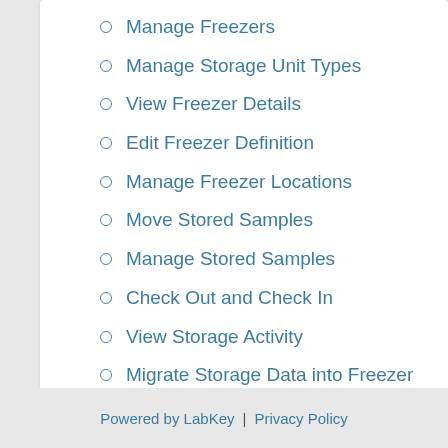Manage Freezers
Manage Storage Unit Types
View Freezer Details
Edit Freezer Definition
Manage Freezer Locations
Move Stored Samples
Manage Stored Samples
Check Out and Check In
View Storage Activity
Migrate Storage Data into Freezer Man
Freezer Storage Roles
Biologics: Shared Freezers
DISCUSSIONS
Powered by LabKey | Privacy Policy